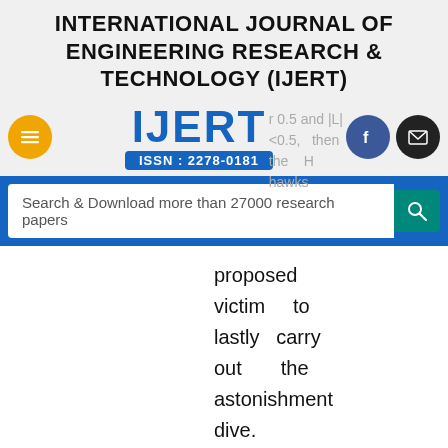INTERNATIONAL JOURNAL OF ENGINEERING RESEARCH & TECHNOLOGY (IJERT)
[Figure (logo): IJERT logo with ISSN: 2278-0181, menu button, Facebook and email icons, and faded background text]
Search & Download more than 27000 research papers
proposed victim to lastly carry out the astonishment dive. Additionally, the recent using eq. (9)